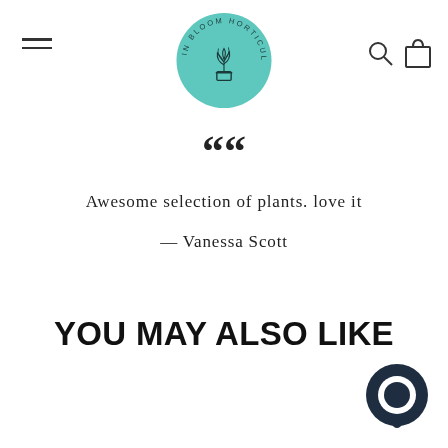In Bloom Horticulture logo with navigation hamburger menu, search icon, and cart icon
““
Awesome selection of plants. love it
— Vanessa Scott
YOU MAY ALSO LIKE
[Figure (illustration): Dark circular chat bubble icon in bottom right corner]